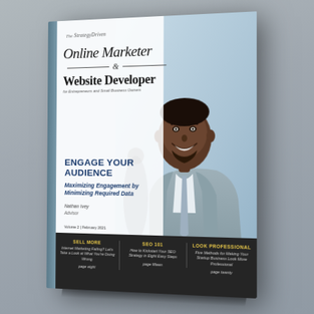[Figure (illustration): 3D book cover render of 'The StrategyDriven Online Marketer & Website Developer' magazine for Entrepreneurs and Small Business Owners, featuring a smiling Black businessman in a suit on the cover, with feature articles listed at the bottom on a dark bar: SELL MORE - Internet Marketing Failing? Let's Take a Look at What You're Doing Wrong; SEO 101 - How to Kickstart Your SEO Strategy in Eight Easy Steps; LOOK PROFESSIONAL - Five Methods for Making Your Startup Business Look More Professional. Volume 2 | February 2021.]
Online Marketer & Website Developer
The StrategyDriven
for Entrepreneurs and Small Business Owners
ENGAGE YOUR AUDIENCE
Maximizing Engagement by Minimizing Required Data
Nathan Ivey
Volume 2 | February 2021
SELL MORE
Internet Marketing Failing? Let's Take a Look at What You're Doing Wrong
page
SEO 101
How to Kickstart Your SEO Strategy in Eight Easy Steps
page fifteen
LOOK PROFESSIONAL
Five Methods for Making Your Startup Business Look More Professional
page twenty